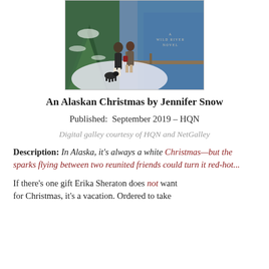[Figure (photo): Book cover of 'An Alaskan Christmas' showing a couple walking with a dog in a snowy scene, with blue water in background. Text reads 'A Wild River Novel'.]
An Alaskan Christmas by Jennifer Snow
Published:  September 2019 – HQN
Digital galley courtesy of HQN and NetGalley
Description: In Alaska, it's always a white Christmas—but the sparks flying between two reunited friends could turn it red-hot...
If there's one gift Erika Sheraton does not want for Christmas, it's a vacation. Ordered to take